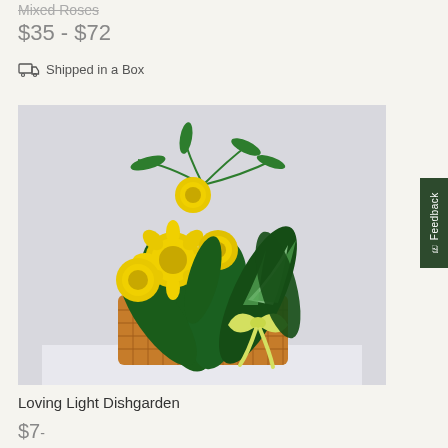Mixed Roses
$35 - $72
Shipped in a Box
[Figure (photo): A wicker basket arrangement containing yellow chrysanthemums and various green tropical plants with a yellow ribbon bow, displayed on a white surface against a light gray background.]
Loving Light Dishgarden
$7-